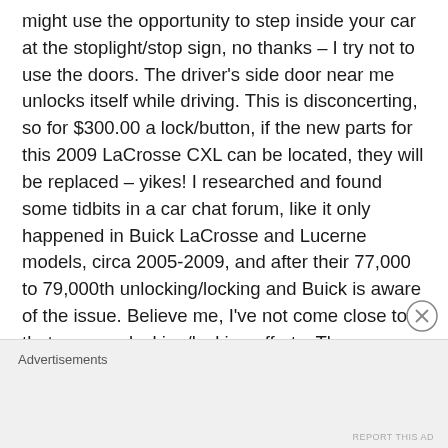might use the opportunity to step inside your car at the stoplight/stop sign, no thanks – I try not to use the doors. The driver's side door near me unlocks itself while driving. This is disconcerting, so for $300.00 a lock/button, if the new parts for this 2009 LaCrosse CXL can be located, they will be replaced – yikes! I researched and found some tidbits in a car chat forum, like it only happened in Buick LaCrosse and Lucerne models, circa 2005-2009, and after their 77,000 to 79,000th unlocking/locking and Buick is aware of the issue. Believe me, I've not come close to that many unlocking/locking efforts. They never
Advertisements